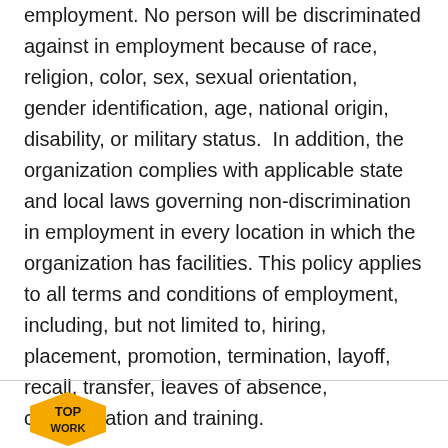employment. No person will be discriminated against in employment because of race, religion, color, sex, sexual orientation, gender identification, age, national origin, disability, or military status.  In addition, the organization complies with applicable state and local laws governing non-discrimination in employment in every location in which the organization has facilities. This policy applies to all terms and conditions of employment, including, but not limited to, hiring, placement, promotion, termination, layoff, recall, transfer, leaves of absence, compensation and training.
[Figure (logo): Top Work badge - yellow hexagonal shape with TOP WORK text]